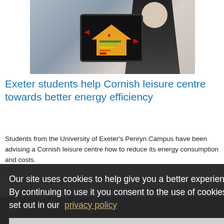[Figure (photo): Woman in business attire holding a tablet displaying a house energy efficiency graphic with red arrows and coloured energy rating bars.]
Exeter students help Cornish leisure centre towards better energy efficiency
Students from the University of Exeter's Penryn Campus have been advising a Cornish leisure centre how to reduce its energy consumption and costs.
Read story »
Our site uses cookies to help give you a better experience. By continuing to use it you consent to the use of cookies as set out in our privacy policy
Close
Using this site | Accessibility | Freedom of Information | Data Protection | Copyright & disclaimer | Privacy & cookies
Copyright University of Exeter. All rights reserved.